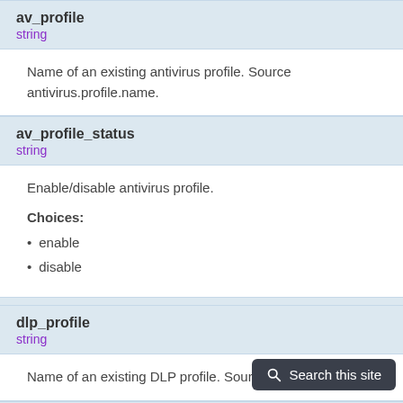av_profile
string
Name of an existing antivirus profile. Source antivirus.profile.name.
av_profile_status
string
Enable/disable antivirus profile.
Choices:
enable
disable
dlp_profile
string
Name of an existing DLP profile. Source dlp.profile.name.
dlp_profile_status
string